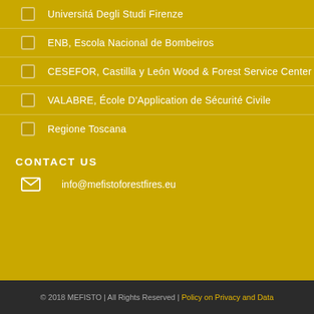Universitá Degli Studi Firenze
ENB, Escola Nacional de Bombeiros
CESEFOR, Castilla y León Wood & Forest Service Center
VALABRE, École D'Application de Sécurité Civile
Regione Toscana
CONTACT US
info@mefistoforestfires.eu
© 2018 MEFISTO | All Rights Reserved | Policy on Privacy and Data